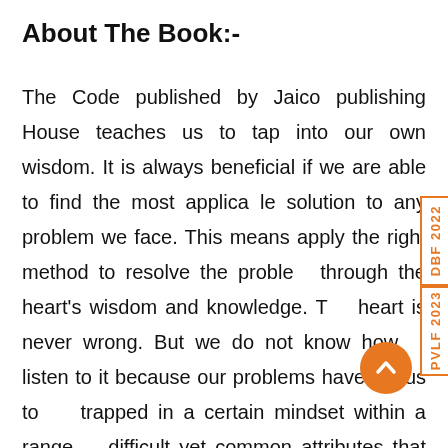About The Book:-
The Code published by Jaico publishing House teaches us to tap into our own wisdom. It is always beneficial if we are able to find the most applicable solution to any problem we face. This means apply the right method to resolve the problem through the heart's wisdom and knowledge. The heart is never wrong. But we do not know how to listen to it because our problems have led us to be trapped in a certain mindset within a range of difficult yet common attributes that we experience in large doses in situations we don't like. Attributes such as ego, over competitiveness, jealousy, over expectations, over ambition, anger and